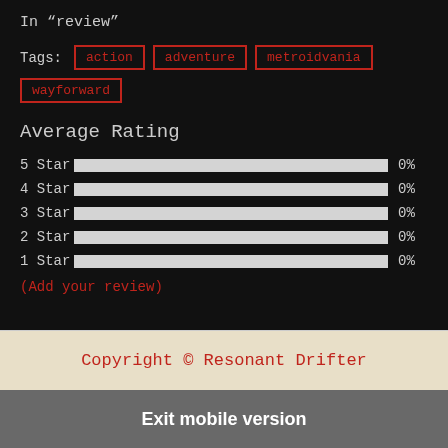In “review”
Tags: action adventure metroidvania wayforward
Average Rating
[Figure (bar-chart): Average Rating]
(Add your review)
Copyright © Resonant Drifter
Exit mobile version